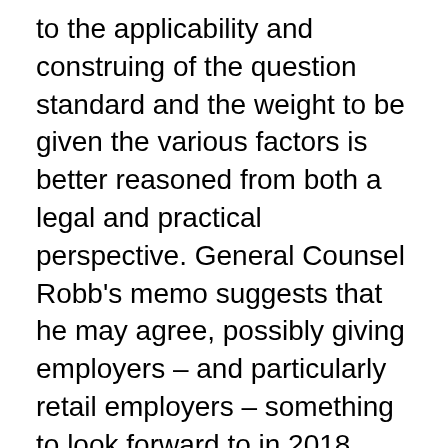to the applicability and construing of the question standard and the weight to be given the various factors is better reasoned from both a legal and practical perspective. General Counsel Robb's memo suggests that he may agree, possibly giving employers – and particularly retail employers – something to look forward to in 2018.
[1] The 10 factors applied in Quietflex were: (1) the reason the employees have stopped working; (2) whether the work stoppage was peaceful; (3) whether the work stoppage interfered with production, or deprived the employer access to its property; (4) whether employees had adequate opportunity to present grievances to management; (5) whether employees were given any warning that they must leave the premises or face discharge; (6)